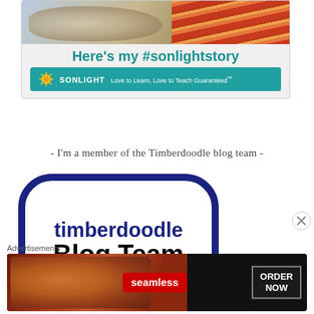[Figure (illustration): Sonlight promotional banner showing children with books, 'Here's my #sonlightstory' hashtag, and the Sonlight 'Love to Learn, Love to Teach Guaranteed' tagline on a teal bar with logo]
- I'm a member of the Timberdoodle blog team -
[Figure (logo): Timberdoodle Blog Team badge — dark navy border rounded arch shape with 'timberdoodle' in navy and 'Blog Team' in black bold text]
Advertisements
[Figure (illustration): Seamless food delivery advertisement showing pizza slices with the Seamless logo and 'ORDER NOW' button]